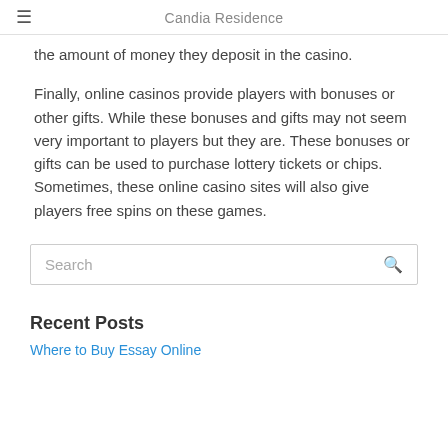Candia Residence
the amount of money they deposit in the casino.
Finally, online casinos provide players with bonuses or other gifts. While these bonuses and gifts may not seem very important to players but they are. These bonuses or gifts can be used to purchase lottery tickets or chips. Sometimes, these online casino sites will also give players free spins on these games.
Search
Recent Posts
Where to Buy Essay Online